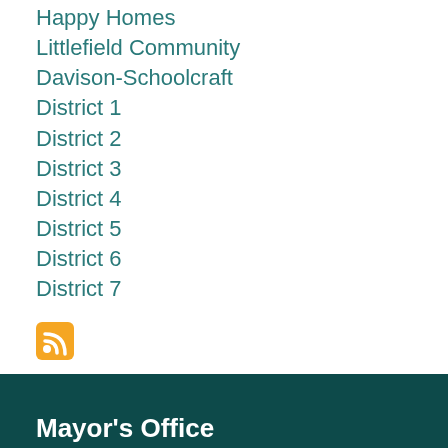Happy Homes
Littlefield Community
Davison-Schoolcraft
District 1
District 2
District 3
District 4
District 5
District 6
District 7
[Figure (illustration): RSS feed icon, orange square with white RSS symbol]
Mayor's Office